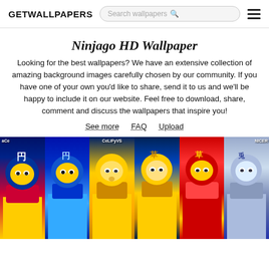GETWALLPAPERS | Search wallpapers
Ninjago HD Wallpaper
Looking for the best wallpapers? We have an extensive collection of amazing background images carefully chosen by our community. If you have one of your own you'd like to share, send it to us and we'll be happy to include it on our website. Feel free to download, share, comment and discuss the wallpapers that inspire you!
See more
FAQ
Upload
[Figure (photo): A horizontal strip of six Ninjago LEGO character wallpaper thumbnails side by side, featuring colorful ninja characters with blue, gold, red and silver color schemes. Text overlays include 'aCe', 'CeLiFyVS', and 'NICER' on the images.]